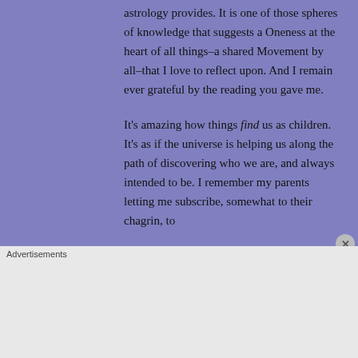astrology provides. It is one of those spheres of knowledge that suggests a Oneness at the heart of all things–a shared Movement by all–that I love to reflect upon. And I remain ever grateful by the reading you gave me.
It's amazing how things find us as children. It's as if the universe is helping us along the path of discovering who we are, and always intended to be. I remember my parents letting me subscribe, somewhat to their chagrin, to
Advertisements
[Figure (screenshot): DuckDuckGo advertisement banner with orange background. Text reads: 'Search, browse, and email with more privacy. All in One Free App'. Shows DuckDuckGo logo on a smartphone graphic.]